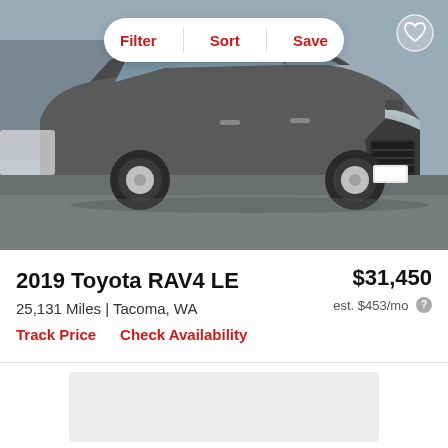[Figure (photo): Gray 2019 Toyota RAV4 LE SUV parked in a lot, front 3/4 view. Filter, Sort, Save button bar overlaid at top center. Heart/save icon at top right.]
2019 Toyota RAV4 LE
$31,450
25,131 Miles | Tacoma, WA
est. $453/mo
Track Price    Check Availability